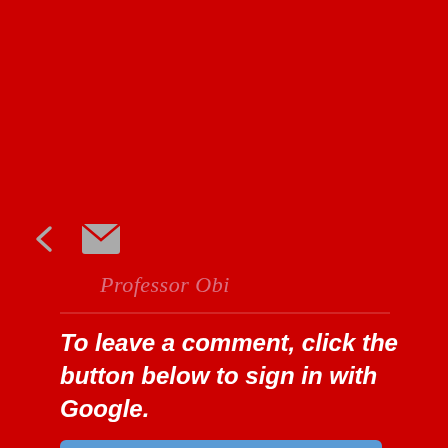[Figure (illustration): Share icon (less-than symbol styled as share) and email envelope icon on red background]
Professor Obi
To leave a comment, click the button below to sign in with Google.
[Figure (screenshot): Blue button labeled SIGN IN WITH GOOGLE]